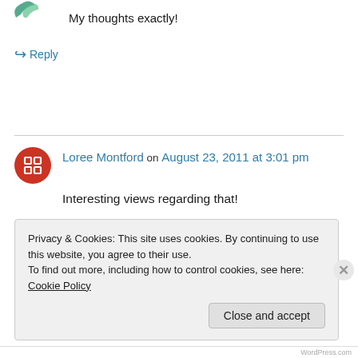[Figure (logo): Partial green leaf/logo icon at top left]
My thoughts exactly!
↳ Reply
[Figure (illustration): Red circular avatar icon with grid/hashtag symbol for Loree Montford]
Loree Montford on August 23, 2011 at 3:01 pm
Interesting views regarding that!
Privacy & Cookies: This site uses cookies. By continuing to use this website, you agree to their use.
To find out more, including how to control cookies, see here: Cookie Policy
Close and accept